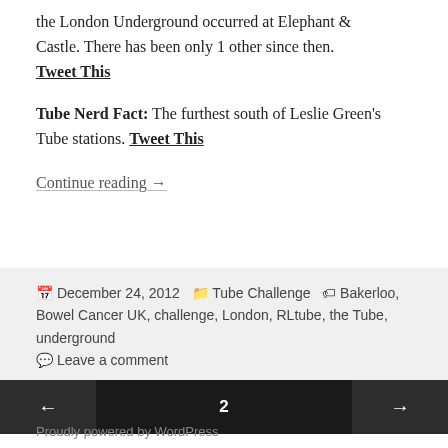the London Underground occurred at Elephant & Castle. There has been only 1 other since then. Tweet This
Tube Nerd Fact: The furthest south of Leslie Green's Tube stations. Tweet This
Continue reading →
December 24, 2012   Tube Challenge   Bakerloo, Bowel Cancer UK, challenge, London, RLtube, the Tube, underground   Leave a comment
← 2 → Proudly powered by WordPress